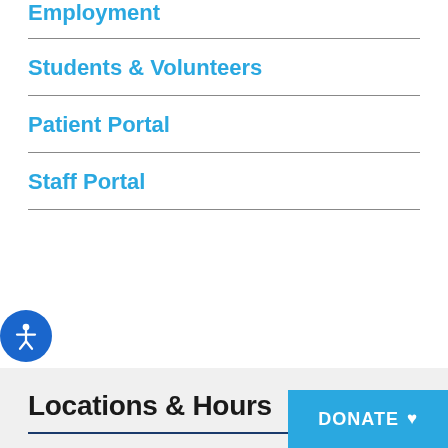Employment
Students & Volunteers
Patient Portal
Staff Portal
Locations & Hours
Christ Community Medical District
Address:
1226 D'Antignac Street, Augusta, GA 30901